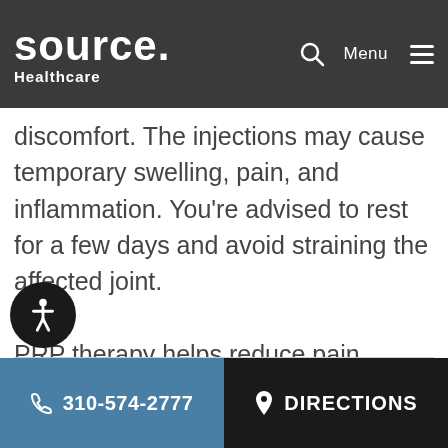Source Healthcare — navigation bar with logo, search, Menu
discomfort. The injections may cause temporary swelling, pain, and inflammation. You're advised to rest for a few days and avoid straining the affected joint.
PRP therapy helps reduce pain, repair damage to the tendon tissue, and improve joint function. It works most effectively in conjunction with other treatments.
310-574-2777 | DIRECTIONS